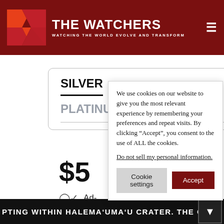THE WATCHERS — WATCHING THE WORLD EVOLVE AND TRANSFORM
SILVER | GOLD | PLATINUM | ONE-OFF
$5
Ad-
Ins
Dir
Ne
suc
We use cookies on our website to give you the most relevant experience by remembering your preferences and repeat visits. By clicking "Accept", you consent to the use of ALL the cookies. Do not sell my personal information.
PTING WITHIN HALEMA'UMA'U CRATER. THE CURRENT SITUA